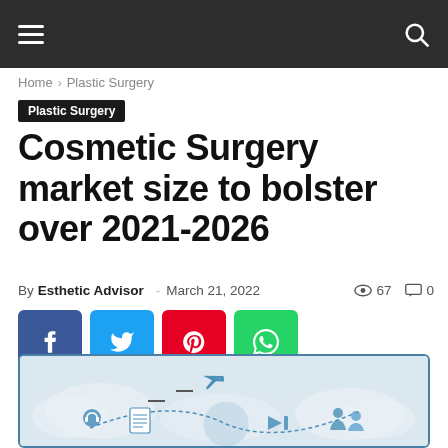Navigation bar with hamburger menu and search icon
Home › Plastic Surgery
Plastic Surgery
Cosmetic Surgery market size to bolster over 2021-2026
By Esthetic Advisor - March 21, 2022  👁 67  💬 0
[Figure (other): Social sharing buttons: Facebook, Twitter, Pinterest, WhatsApp]
[Figure (illustration): Partial view of an infographic about cosmetic surgery market with travel/medical tourism icons, globe, airplane, and figures]